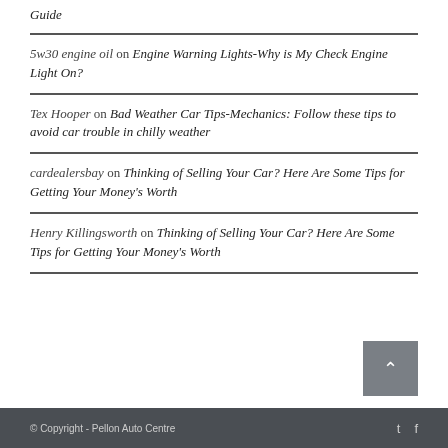Guide
5w30 engine oil on Engine Warning Lights-Why is My Check Engine Light On?
Tex Hooper on Bad Weather Car Tips-Mechanics: Follow these tips to avoid car trouble in chilly weather
cardealersbay on Thinking of Selling Your Car? Here Are Some Tips for Getting Your Money's Worth
Henry Killingsworth on Thinking of Selling Your Car? Here Are Some Tips for Getting Your Money's Worth
© Copyright - Pellon Auto Centre